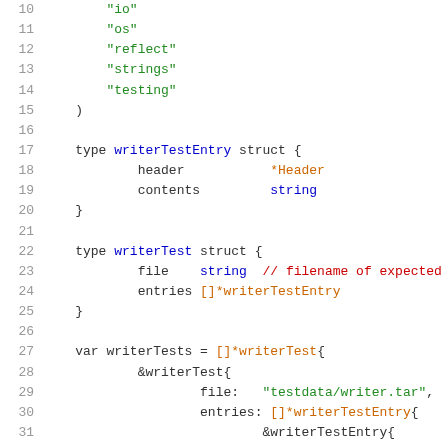Code snippet showing Go struct definitions and variable declarations (lines 10-31)